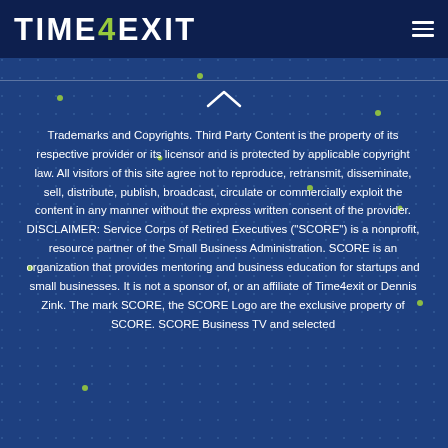TIME4EXIT
Trademarks and Copyrights. Third Party Content is the property of its respective provider or its licensor and is protected by applicable copyright law. All visitors of this site agree not to reproduce, retransmit, disseminate, sell, distribute, publish, broadcast, circulate or commercially exploit the content in any manner without the express written consent of the provider. DISCLAIMER: Service Corps of Retired Executives ("SCORE") is a nonprofit, resource partner of the Small Business Administration. SCORE is an organization that provides mentoring and business education for startups and small businesses. It is not a sponsor of, or an affiliate of Time4exit or Dennis Zink. The mark SCORE, the SCORE Logo are the exclusive property of SCORE. SCORE Business TV and selected